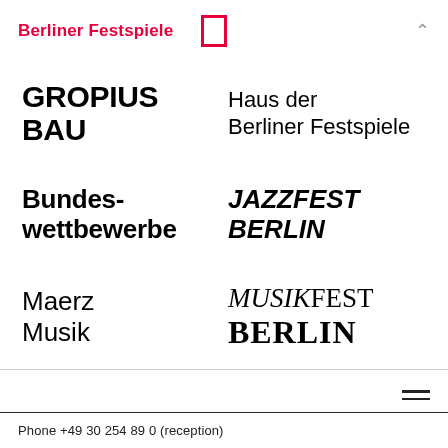Berliner Festspiele
[Figure (logo): Red square outline icon (menu/logo box)]
GROPIUS BAU
Haus der Berliner Festspiele
Bundeswettbewerbe
[Figure (logo): JAZZFEST BERLIN logo in bold italic black text]
Maerz Musik
[Figure (logo): MUSIKFEST BERLIN logo with mixed serif italic and bold text]
Phone +49 30 254 89 0 (reception)